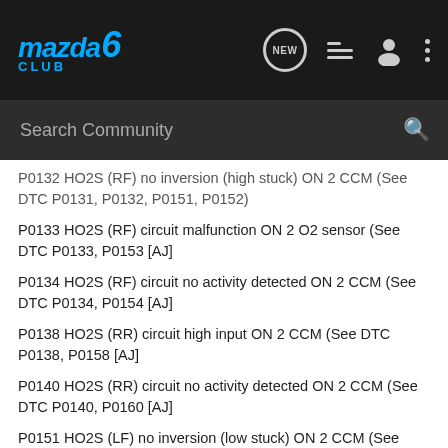[Figure (screenshot): Mazda 6 Club website navigation bar with logo, NEW bubble icon, list icon, person icon, and 3-dot menu icon on dark background]
Search Community
P0132 HO2S (RF) no inversion (high stuck) ON 2 CCM (See DTC P0131, P0132, P0151, P0152)
P0133 HO2S (RF) circuit malfunction ON 2 O2 sensor (See DTC P0133, P0153 [AJ]
P0134 HO2S (RF) circuit no activity detected ON 2 CCM (See DTC P0134, P0154 [AJ]
P0138 HO2S (RR) circuit high input ON 2 CCM (See DTC P0138, P0158 [AJ]
P0140 HO2S (RR) circuit no activity detected ON 2 CCM (See DTC P0140, P0160 [AJ]
P0151 HO2S (LF) no inversion (low stuck) ON 2 CCM (See DTC P0131, P0132, P0151, P0152)
P0152 HO2S (LF) no inversion (high stuck) ON 2 CCM (See DTC P0131, P0132, P0151, P0152 [AJ]